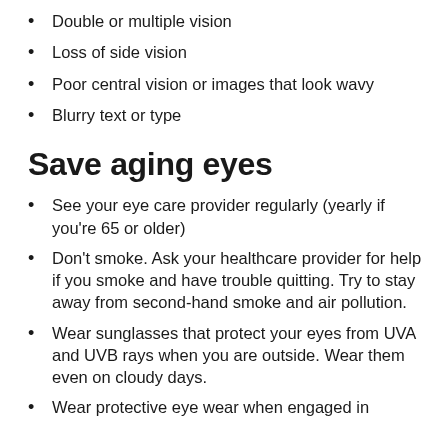Double or multiple vision
Loss of side vision
Poor central vision or images that look wavy
Blurry text or type
Save aging eyes
See your eye care provider regularly (yearly if you're 65 or older)
Don't smoke. Ask your healthcare provider for help if you smoke and have trouble quitting. Try to stay away from second-hand smoke and air pollution.
Wear sunglasses that protect your eyes from UVA and UVB rays when you are outside. Wear them even on cloudy days.
Wear protective eye wear when engaged in